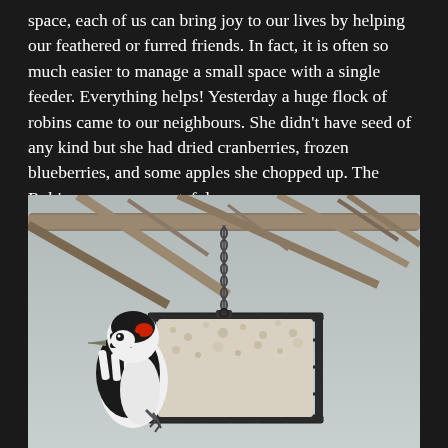space, each of us can bring joy to our lives by helping our feathered or furred friends. In fact, it is often so much easier to manage a small space with a single feeder. Everything helps! Yesterday a huge flock of robins came to our neighbours. She didn't have seed of any kind but she had dried cranberries, frozen blueberries, and some apples she chopped up. The Robins were very grateful.
[Figure (photo): A downy woodpecker with red patch on head and black-and-white plumage clinging to a wire suet cage feeder hanging from a bare tree branch. The feeder contains a white suet block. Background shows bare winter branches and gray sky.]